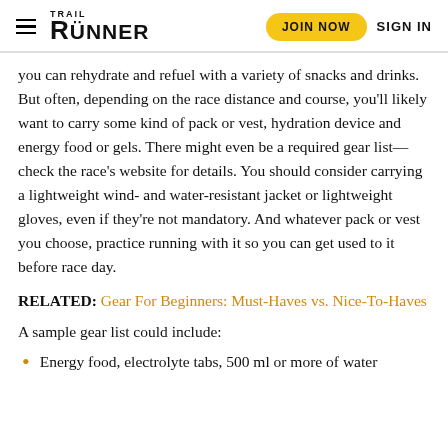TRAIL RUNNER | JOIN NOW | SIGN IN
you can rehydrate and refuel with a variety of snacks and drinks. But often, depending on the race distance and course, you'll likely want to carry some kind of pack or vest, hydration device and energy food or gels. There might even be a required gear list—check the race's website for details. You should consider carrying a lightweight wind- and water-resistant jacket or lightweight gloves, even if they're not mandatory. And whatever pack or vest you choose, practice running with it so you can get used to it before race day.
RELATED: Gear For Beginners: Must-Haves vs. Nice-To-Haves
A sample gear list could include:
Energy food, electrolyte tabs, 500 ml or more of water